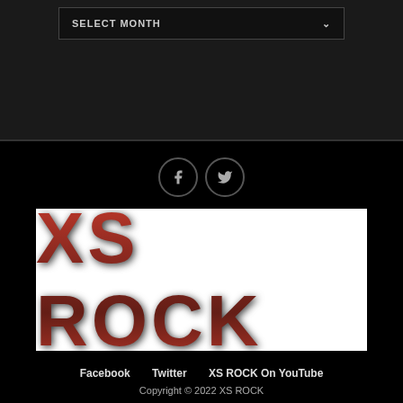SELECT MONTH
[Figure (illustration): Two circular social media icons: Facebook (f) and Twitter (bird) with grey outlines on black background]
[Figure (logo): XS ROCK logo in large bold metallic red text on white background]
Facebook   Twitter   XS ROCK On YouTube
Copyright © 2022 XS ROCK